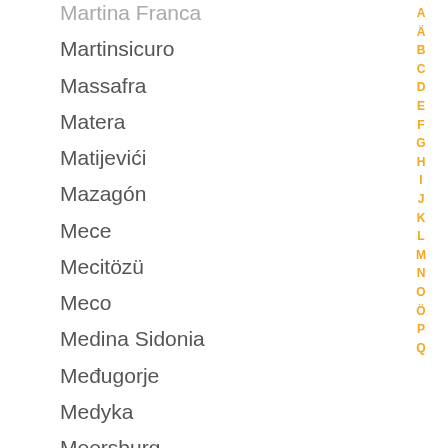Martina Franca
Martinsicuro
Massafra
Matera
Matijevići
Mazagón
Mece
Mecitözü
Meco
Medina Sidonia
Međugorje
Medyka
Meersburg
Mekece
Melgaço
Mellrichstadt